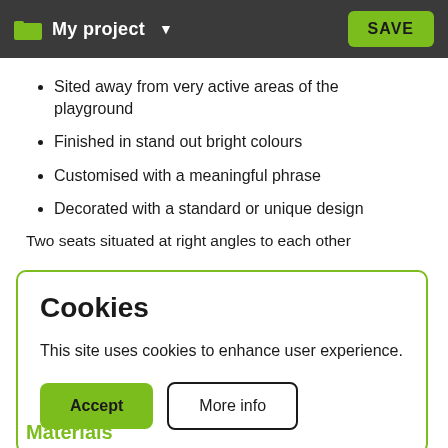My project  SAVE
Sited away from very active areas of the playground
Finished in stand out bright colours
Customised with a meaningful phrase
Decorated with a standard or unique design
Two seats situated at right angles to each other
Cookies
This site uses cookies to enhance user experience.
Accept  More info
Materials